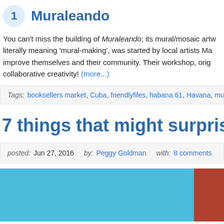1  Muraleando
You can't miss the building of Muraleando; its mural/mosaic artw... literally meaning 'mural-making', was started by local artists Ma... improve themselves and their community. Their workshop, orig... collaborative creativity! (more...)
Tags: booksellers market, Cuba, friendlyfiles, habana 61, Havana, mura...
7 things that might surprise
posted: Jun 27, 2016  by: Peggy Goldman  with: 8 comments
[Figure (photo): Colorful image showing blue and red tones, partially cropped at the bottom of the page]